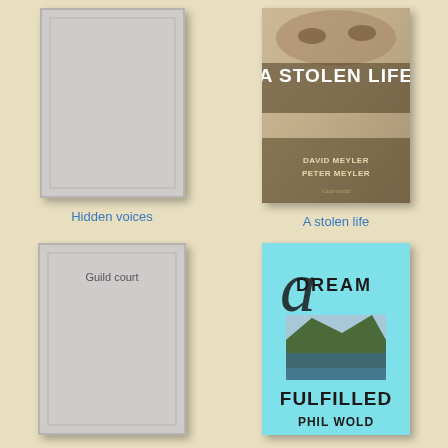[Figure (illustration): Placeholder book cover for 'Hidden voices' — light gray rectangle with inner border outline]
Hidden voices
[Figure (illustration): Book cover for 'A Stolen Life' by David Meyler and Peter Meyler — aged parchment background with large bold title text and author names]
A stolen life
[Figure (illustration): Placeholder book cover for 'Guild court' — light gray rectangle with inner border and text 'Guild court' near top]
Guild court
[Figure (illustration): Book cover for 'A Dream Fulfilled' by Phil Wold — light blue background with cursive 'A' and 'DREAM' text, mountain landscape photo, bold 'FULFILLED' and 'PHIL WOLD' text]
A Dream Fulfilled